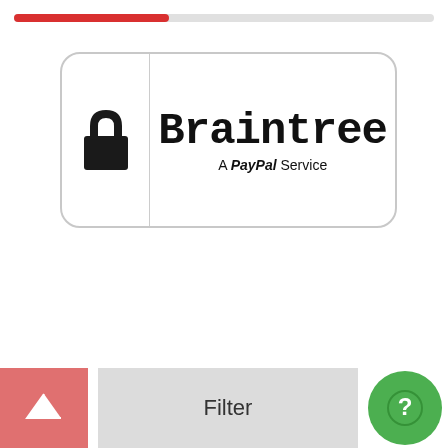[Figure (other): Progress bar, approximately 38% filled in red, rest grey]
[Figure (logo): Braintree - A PayPal Service logo inside a rounded rectangle border with a padlock icon on the left]
[Figure (other): Bottom navigation bar with: a salmon/red up-arrow square button on the left, a grey Filter button in the center, and a green circle help button on the right]